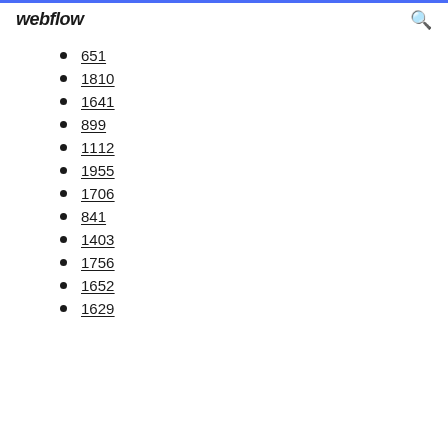webflow
651
1810
1641
899
1112
1955
1706
841
1403
1756
1652
1629